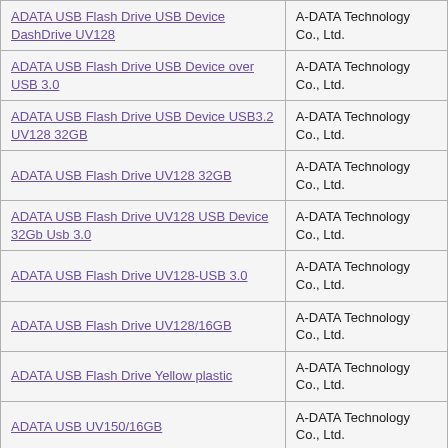| Product | Manufacturer |
| --- | --- |
| ADATA USB Flash Drive USB Device DashDrive UV128 | A-DATA Technology Co., Ltd. |
| ADATA USB Flash Drive USB Device over USB 3.0 | A-DATA Technology Co., Ltd. |
| ADATA USB Flash Drive USB Device USB3.2 UV128 32GB | A-DATA Technology Co., Ltd. |
| ADATA USB Flash Drive UV128 32GB | A-DATA Technology Co., Ltd. |
| ADATA USB Flash Drive UV128 USB Device 32Gb Usb 3.0 | A-DATA Technology Co., Ltd. |
| ADATA USB Flash Drive UV128-USB 3.0 | A-DATA Technology Co., Ltd. |
| ADATA USB Flash Drive UV128/16GB | A-DATA Technology Co., Ltd. |
| ADATA USB Flash Drive Yellow plastic | A-DATA Technology Co., Ltd. |
| ADATA USB UV150/16GB | A-DATA Technology Co., Ltd. |
| ADATA UV128 16GB USB 3.0 | A-DATA Technology Co., Ltd. |
| ADATA UV128 32 32 USB 3.0 | A-DATA Technology Co., Ltd. |